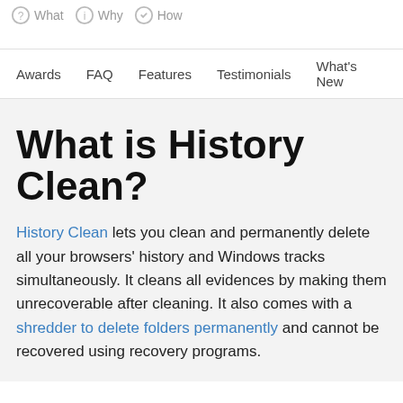What  Why  How
Awards  FAQ  Features  Testimonials  What's New
What is History Clean?
History Clean lets you clean and permanently delete all your browsers' history and Windows tracks simultaneously. It cleans all evidences by making them unrecoverable after cleaning. It also comes with a shredder to delete folders permanently and cannot be recovered using recovery programs.